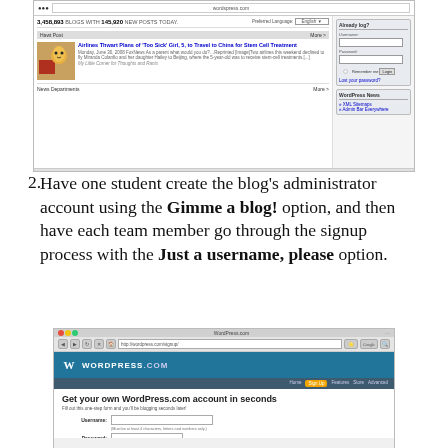[Figure (screenshot): WordPress.com homepage screenshot showing blog statistics (3,458,893 blogs with 145,920 new posts today), a featured news article about Airlines Thwarting Plans of 'Too Sick' Girl, 5, to Travel to China for Stem Cell Treatment, login sidebar with username/password fields, and WordPress News section.]
Have one student create the blog's administrator account using the Gimme a blog! option, and then have each team member go through the signup process with the Just a username, please option.
[Figure (screenshot): WordPress.com signup page screenshot showing the WordPress.com logo header with blue navigation bar, 'Get your own WordPress.com account in seconds' heading, and form fields for Username and Password.]